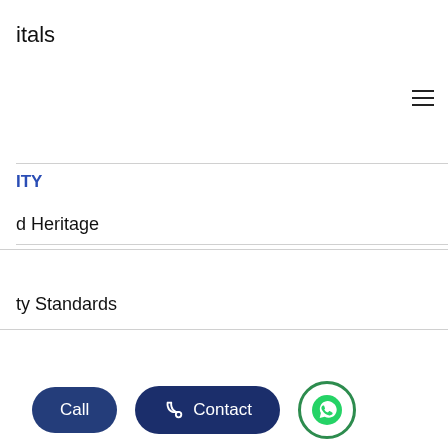itals
ITY
d Heritage
ty Standards
& Developement Center
d of Trustees
: People
Call   Contact